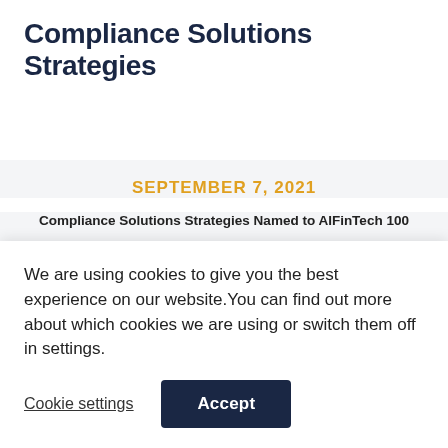Compliance Solutions Strategies
SEPTEMBER 7, 2021
Compliance Solutions Strategies Named to AIFinTech 100
CSS awarded for its digital transformation technology and data analytics solutions which
We are using cookies to give you the best experience on our website.You can find out more about which cookies we are using or switch them off in settings.
Cookie settings
Accept